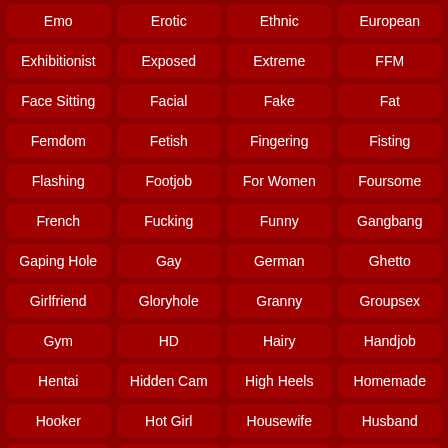| Emo | Erotic | Ethnic | European |
| Exhibitionist | Exposed | Extreme | FFM |
| Face Sitting | Facial | Fake | Fat |
| Femdom | Fetish | Fingering | Fisting |
| Flashing | Footjob | For Women | Foursome |
| French | Fucking | Funny | Gangbang |
| Gaping Hole | Gay | German | Ghetto |
| Girlfriend | Gloryhole | Granny | Groupsex |
| Gym | HD | Hairy | Handjob |
| Hentai | Hidden Cam | High Heels | Homemade |
| Hooker | Hot Girl | Housewife | Husband |
| In The Car | Indian | Interracial | Italian |
| Japanese | Jerking Cock | Kissing | Ladyboy |